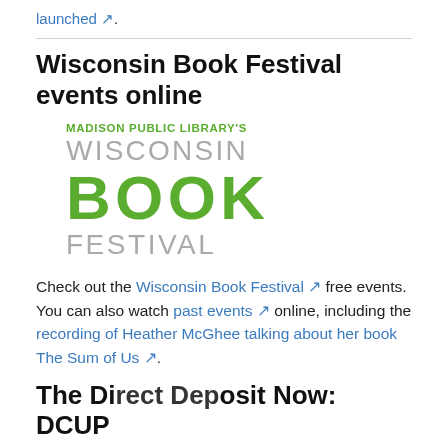launched ↗.
Wisconsin Book Festival events online
[Figure (logo): Madison Public Library's Wisconsin Book Festival logo. Text reads: MADISON PUBLIC LIBRARY'S in green, WISCONSIN in gray, BOOK in large green bold letters, FESTIVAL in gray.]
Check out the Wisconsin Book Festival ↗ free events. You can also watch past events ↗ online, including the recording of Heather McGhee talking about her book The Sum of Us ↗.
The Direct Deposit Now: DCUP